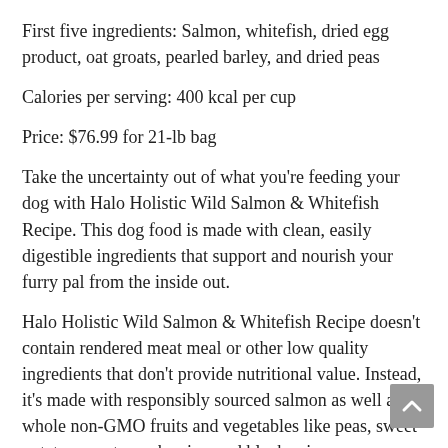First five ingredients: Salmon, whitefish, dried egg product, oat groats, pearled barley, and dried peas
Calories per serving: 400 kcal per cup
Price: $76.99 for 21-lb bag
Take the uncertainty out of what you're feeding your dog with Halo Holistic Wild Salmon & Whitefish Recipe. This dog food is made with clean, easily digestible ingredients that support and nourish your furry pal from the inside out.
Halo Holistic Wild Salmon & Whitefish Recipe doesn't contain rendered meat meal or other low quality ingredients that don't provide nutritional value. Instead, it's made with responsibly sourced salmon as well as whole non-GMO fruits and vegetables like peas, sweet potato, carrot, cranberries, and blueberries.
This blend of ingredients creates dry kibble that not only tastes good, but will support your dog's energy, strength, immune, and digestive health. Each bite is fortified with